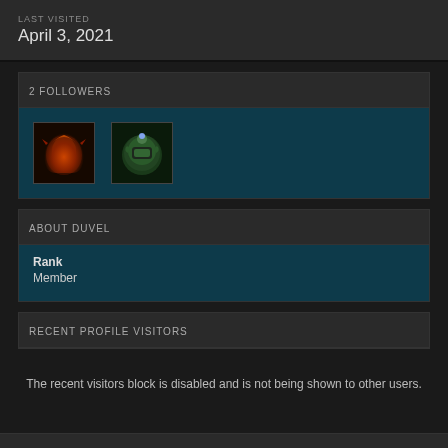LAST VISITED
April 3, 2021
2 FOLLOWERS
[Figure (photo): Two follower avatar images side by side]
ABOUT DUVEL
Rank
Member
RECENT PROFILE VISITORS
The recent visitors block is disabled and is not being shown to other users.